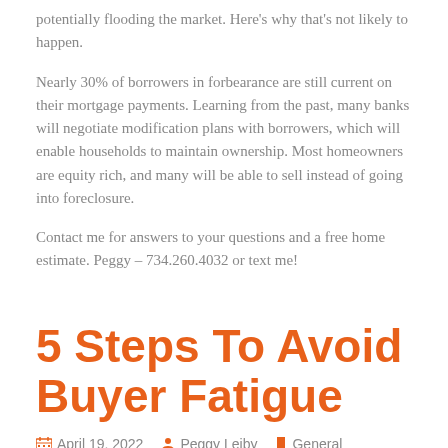potentially flooding the market. Here's why that's not likely to happen.
Nearly 30% of borrowers in forbearance are still current on their mortgage payments. Learning from the past, many banks will negotiate modification plans with borrowers, which will enable households to maintain ownership. Most homeowners are equity rich, and many will be able to sell instead of going into foreclosure.
Contact me for answers to your questions and a free home estimate. Peggy – 734.260.4032 or text me!
5 Steps To Avoid Buyer Fatigue
April 19, 2022   Peggy Leiby   General